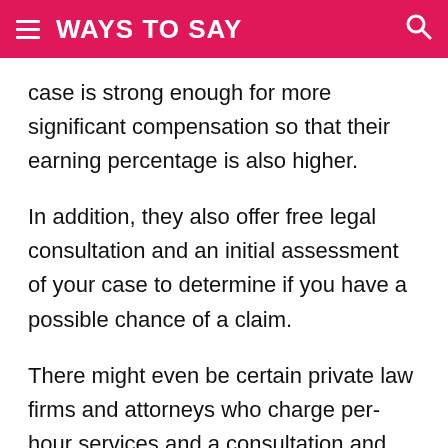WAYS TO SAY
case is strong enough for more significant compensation so that their earning percentage is also higher.
In addition, they also offer free legal consultation and an initial assessment of your case to determine if you have a possible chance of a claim.
There might even be certain private law firms and attorneys who charge per-hour services and a consultation and case review fee.